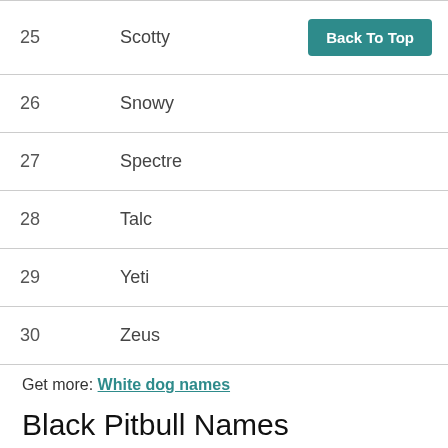| # | Name |  |
| --- | --- | --- |
| 25 | Scotty | Back To Top |
| 26 | Snowy |  |
| 27 | Spectre |  |
| 28 | Talc |  |
| 29 | Yeti |  |
| 30 | Zeus |  |
Get more: White dog names
Black Pitbull Names